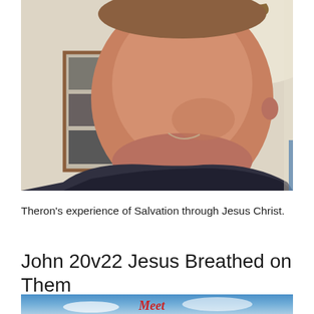[Figure (photo): A man smiling at the camera in a selfie-style photo. A framed photo collage is visible on the wall behind him. He is wearing a dark shirt.]
Theron's experience of Salvation through Jesus Christ.
John 20v22 Jesus Breathed on Them
[Figure (photo): Partial view of an image with blue sky and the word 'Meet' in red italic text.]